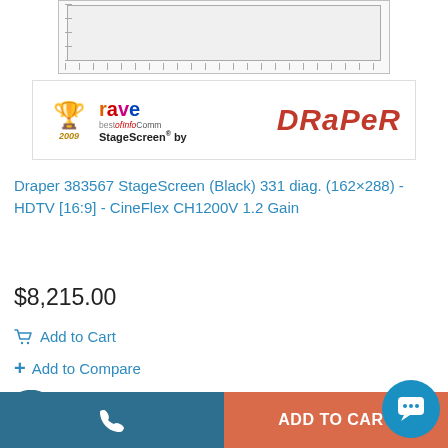[Figure (photo): Product image of a projection screen (top portion cropped, showing frame/border)]
[Figure (logo): Rave bestofInfoComm 2009 award badge with StageScreen by Draper branding]
Draper 383567 StageScreen (Black) 331 diag. (162×288) - HDTV [16:9] - CineFlex CH1200V 1.2 Gain
$8,215.00
Add to Cart
Add to Compare
Supported Resolution: 1080P
ADD TO CART